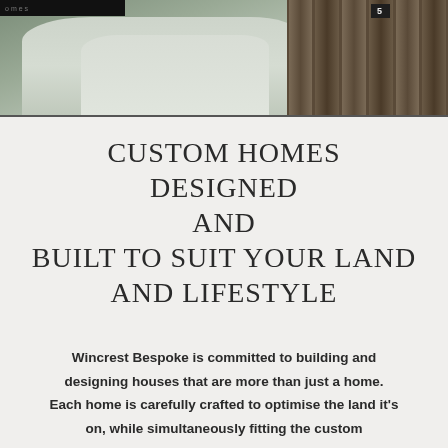[Figure (photo): Photograph showing a paved pathway leading to residential homes with a dark wooden fence/slat wall on the right side. A small sign with number 5 is visible near the top right.]
CUSTOM HOMES DESIGNED AND BUILT TO SUIT YOUR LAND AND LIFESTYLE
Wincrest Bespoke is committed to building and designing houses that are more than just a home. Each home is carefully crafted to optimise the land it's on, while simultaneously fitting the custom requirements of your dream home.